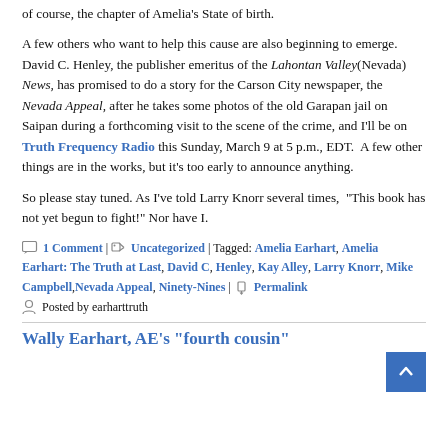of course, the chapter of Amelia's State of birth.
A few others who want to help this cause are also beginning to emerge. David C. Henley, the publisher emeritus of the Lahontan Valley(Nevada) News, has promised to do a story for the Carson City newspaper, the Nevada Appeal, after he takes some photos of the old Garapan jail on Saipan during a forthcoming visit to the scene of the crime, and I'll be on Truth Frequency Radio this Sunday, March 9 at 5 p.m., EDT.  A few other things are in the works, but it's too early to announce anything.
So please stay tuned. As I've told Larry Knorr several times,  “This book has not yet begun to fight!” Nor have I.
1 Comment | Uncategorized | Tagged: Amelia Earhart, Amelia Earhart: The Truth at Last, David C, Henley, Kay Alley, Larry Knorr, Mike Campbell, Nevada Appeal, Ninety-Nines | Permalink
Posted by earharttruth
Wally Earhart, AE’s “fourth cousin”